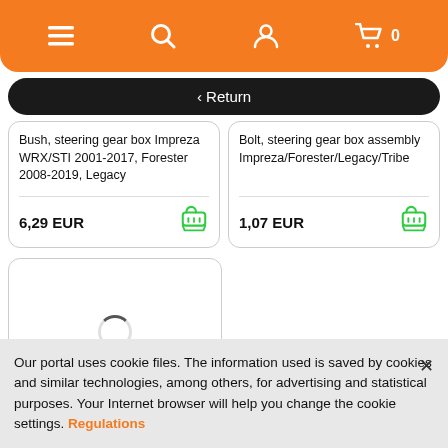[Figure (screenshot): Mobile app navigation bar with orange background, hamburger menu, search, user, and cart icons with 0 count]
< Return
Bush, steering gear box Impreza WRX/STI 2001-2017, Forester 2008-2019, Legacy
6,29 EUR
Bolt, steering gear box assembly Impreza/Forester/Legacy/Tribe
1,07 EUR
[Figure (other): Loading spinner inside a card]
Our portal uses cookie files. The information used is saved by cookies and similar technologies, among others, for advertising and statistical purposes. Your Internet browser will help you change the cookie settings. Regulations